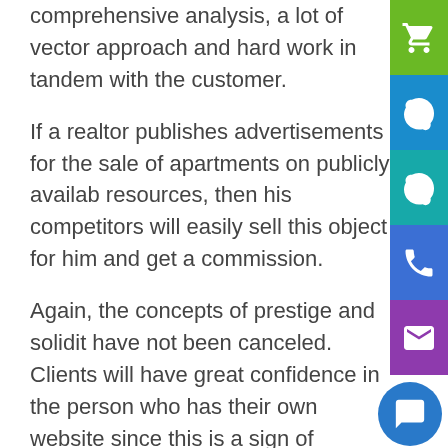comprehensive analysis, a lot of vector approach and hard work in tandem with the customer.
If a realtor publishes advertisements for the sale of apartments on publicly available resources, then his competitors will easily sell this object for him and get a commission.
Again, the concepts of prestige and solidity have not been canceled. Clients will have great confidence in the person who has their own website since this is a sign of success and stability, which means that in their eyes it stands much higher on the steps of the social ladder.